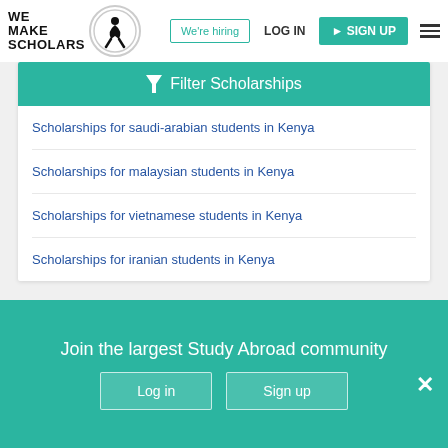[Figure (logo): We Make Scholars logo with silhouette figure in circle]
We're hiring
LOG IN
SIGN UP
Filter Scholarships
Scholarships for saudi-arabian students in Kenya
Scholarships for malaysian students in Kenya
Scholarships for vietnamese students in Kenya
Scholarships for iranian students in Kenya
Join the largest Study Abroad community
Log in
Sign up